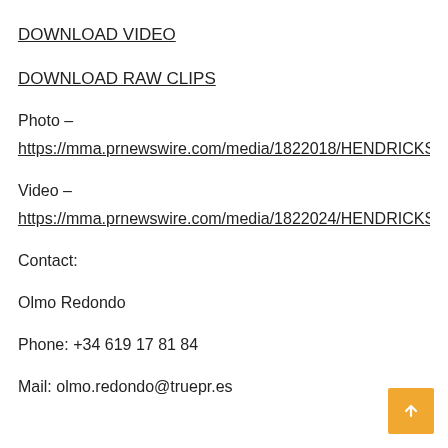DOWNLOAD VIDEO
DOWNLOAD RAW CLIPS
Photo –
https://mma.prnewswire.com/media/1822018/HENDRICKS.jp
Video –
https://mma.prnewswire.com/media/1822024/HENDRICKS_V
Contact:
Olmo Redondo
Phone: +34 619 17 81 84
Mail: olmo.redondo@truepr.es